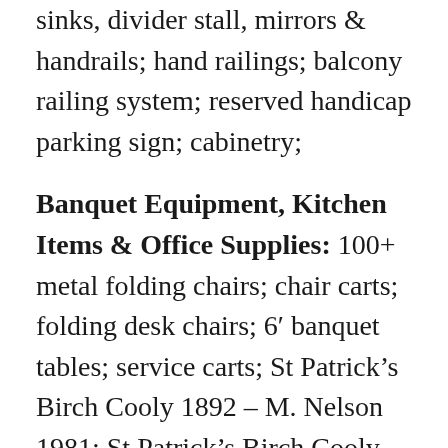sinks, divider stall, mirrors & handrails; hand railings; balcony railing system; reserved handicap parking sign; cabinetry;
Banquet Equipment, Kitchen Items & Office Supplies: 100+ metal folding chairs; chair carts; folding desk chairs; 6′ banquet tables; service carts; St Patrick's Birch Cooly 1892 – M. Nelson 1981; St Patrick's Birch Cooly 1898 – M. Nelson 1982; Bingo set; 5 gal RW crock; industrial mop bucket; roasters; roaster pans; coffee makers; pot & pan sets; coffee pots; coffee kettles; colanders; mixing bowls; kitchen utensils; large amount of plates, glasses, coffee cups, silverware, pitchers &